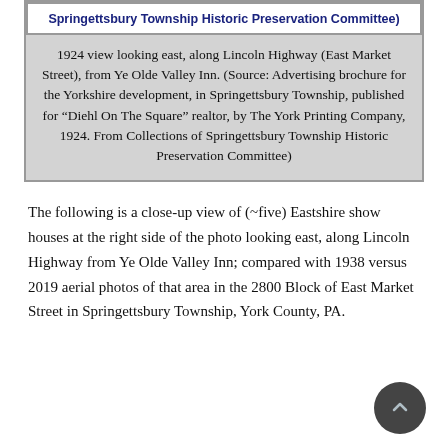Springgettsbury Township Historic Preservation Committee)
1924 view looking east, along Lincoln Highway (East Market Street), from Ye Olde Valley Inn. (Source: Advertising brochure for the Yorkshire development, in Springettsbury Township, published for “Diehl On The Square” realtor, by The York Printing Company, 1924. From Collections of Springettsbury Township Historic Preservation Committee)
The following is a close-up view of (~five) Eastshire show houses at the right side of the photo looking east, along Lincoln Highway from Ye Olde Valley Inn; compared with 1938 versus 2019 aerial photos of that area in the 2800 Block of East Market Street in Springettsbury Township, York County, PA.